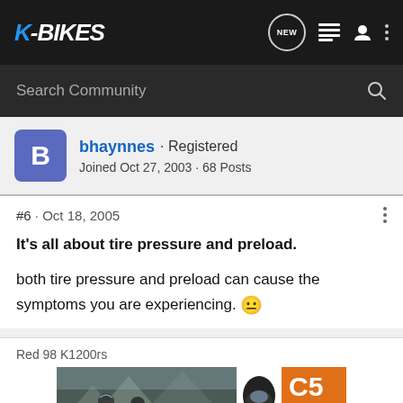K-BIKES
Search Community
bhaynnes · Registered
Joined Oct 27, 2003 · 68 Posts
#6 · Oct 18, 2005
It's all about tire pressure and preload.
both tire pressure and preload can cause the symptoms you are experiencing. 🙁
Red 98 K1200rs
[Figure (photo): Advertisement banner for C5 helmet - DISCOVER THE FLIP-UP FUTURE]